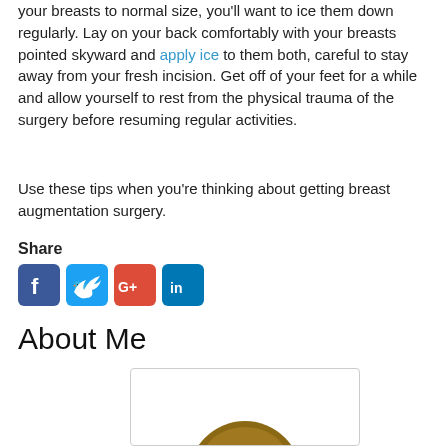your breasts to normal size, you'll want to ice them down regularly. Lay on your back comfortably with your breasts pointed skyward and apply ice to them both, careful to stay away from your fresh incision. Get off of your feet for a while and allow yourself to rest from the physical trauma of the surgery before resuming regular activities.
Use these tips when you're thinking about getting breast augmentation surgery.
Share
[Figure (illustration): Four social media share buttons: Facebook (blue), Twitter (blue), Google+ (red/blue), LinkedIn (blue)]
About Me
[Figure (illustration): Cartoon avatar illustration of a young woman with brown hair, wearing a green strapless top, smiling slightly, shown from shoulders up]